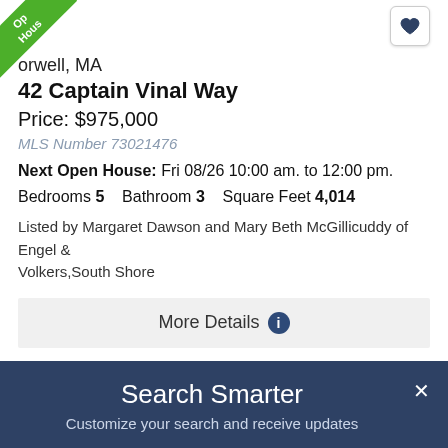[Figure (other): Green 'Open House' corner banner ribbon]
orwell, MA
42 Captain Vinal Way
Price: $975,000
MLS Number 73021476
Next Open House: Fri 08/26 10:00 am. to 12:00 pm.
Bedrooms 5    Bathroom 3    Square Feet 4,014
Listed by Margaret Dawson and Mary Beth McGillicuddy of Engel & Volkers,South Shore
More Details
1
The property listing data and information, or the
Search Smarter
Customize your search and receive updates